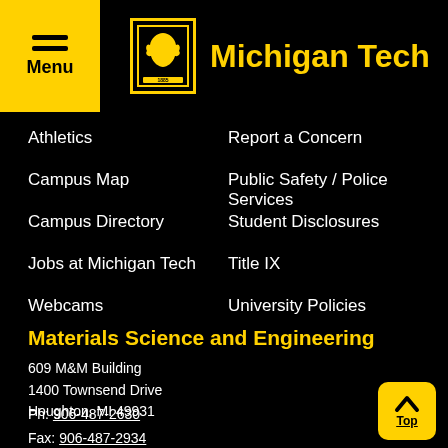Michigan Tech
Athletics
Report a Concern
Campus Map
Public Safety / Police Services
Campus Directory
Student Disclosures
Jobs at Michigan Tech
Title IX
Webcams
University Policies
Materials Science and Engineering
609 M&M Building
1400 Townsend Drive
Houghton, MI 49931
Ph: 906-487-2630
Fax: 906-487-2934